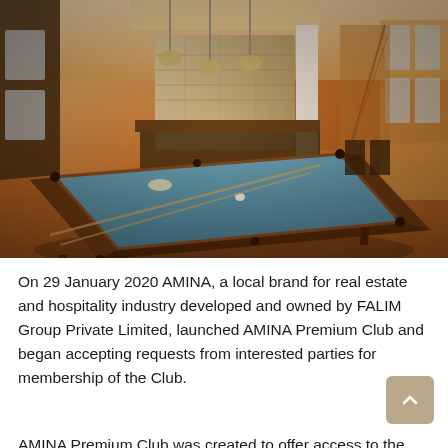[Figure (photo): Interior photo of a luxury club/lounge room featuring a billiard/pool table with blue felt in the foreground, warm hardwood floors, pendant lighting over a bar area, stone accent wall, and a staircase in the background.]
On 29 January 2020 AMINA, a local brand for real estate and hospitality industry developed and owned by FALIM Group Private Limited, launched AMINA Premium Club and began accepting requests from interested parties for membership of the Club.
AMINA Premium Club was created to offer access to the